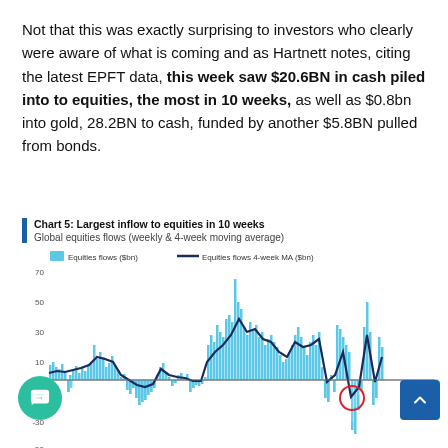Not that this was exactly surprising to investors who clearly were aware of what is coming and as Hartnett notes, citing the latest EPFT data, this week saw $20.6BN in cash piled into to equities, the most in 10 weeks, as well as $0.8bn into gold, 28.2BN to cash, funded by another $5.8BN pulled from bonds.
[Figure (continuous-plot): Global equities flows (weekly & 4-week moving average) bar/line chart showing equities flows ($bn) as light blue bars and equities flows 4-week MA ($bn) as dark navy line, spanning many years. Y-axis from -50 to 70. A red circle highlights a recent low point near -10.]